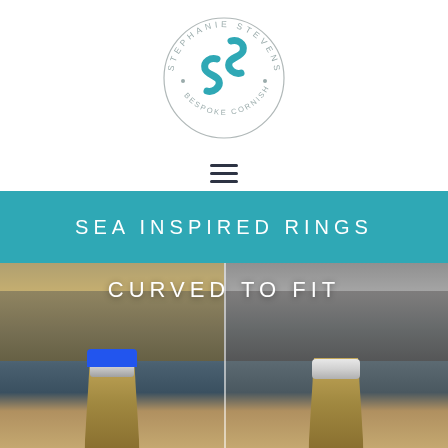[Figure (logo): Stephanie Stevens Bespoke Cornish Jewellery circular logo with teal double-S monogram]
[Figure (other): Hamburger menu icon (three horizontal lines)]
SEA INSPIRED RINGS
[Figure (photo): Two side-by-side workshop photos showing a ring being made: left photo shows a blue wax model and silver ring on a wooden anvil block; right photo shows the finished silver ring on the same wooden block. Text overlay reads CURVED TO FIT.]